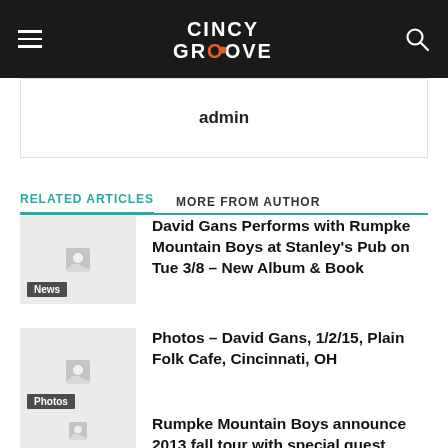CINCY GROOVE
admin
RELATED ARTICLES   MORE FROM AUTHOR
David Gans Performs with Rumpke Mountain Boys at Stanley's Pub on Tue 3/8 – New Album & Book
Photos – David Gans, 1/2/15, Plain Folk Cafe, Cincinnati, OH
Rumpke Mountain Boys announce 2013 fall tour with special guest David